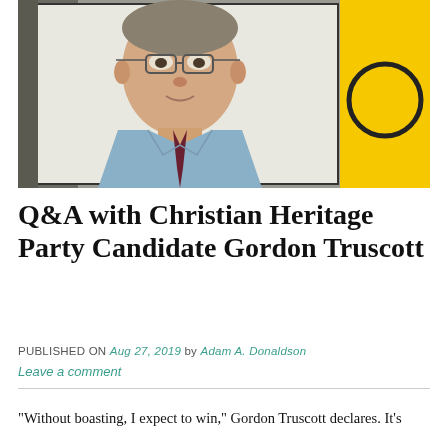[Figure (photo): Headshot of Gordon Truscott, a middle-aged man wearing glasses, a light blue shirt, and a dark red tie. He is photographed against a background that includes a yellow panel on the right side.]
Q&A with Christian Heritage Party Candidate Gordon Truscott
PUBLISHED ON Aug 27, 2019 by Adam A. Donaldson
Leave a comment
“Without boasting, I expect to win,” Gordon Truscott declares. It’s